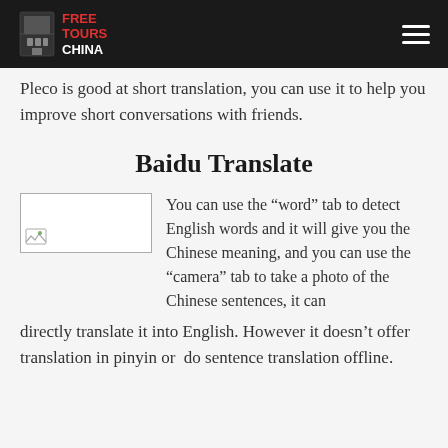FREE TOURS CHINA
Pleco is good at short translation, you can use it to help you improve short conversations with friends.
Baidu Translate
[Figure (photo): Placeholder image thumbnail with small document/photo icon in bottom-left corner]
You can use the “word” tab to detect English words and it will give you the Chinese meaning, and you can use the “camera” tab to take a photo of the Chinese sentences, it can directly translate it into English. However it doesn’t offer translation in pinyin or  do sentence translation offline.